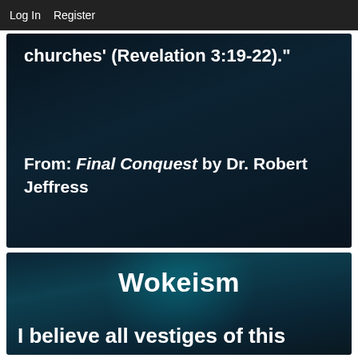Log In   Register
[Figure (screenshot): Dark background image with bold white text reading: 'churches' (Revelation 3:19-22).' followed below by 'From: Final Conquest by Dr. Robert Jeffress']
[Figure (screenshot): Dark teal background image with bold white text reading: 'Wokeism' as a title, and below: 'I believe all vestiges of this']